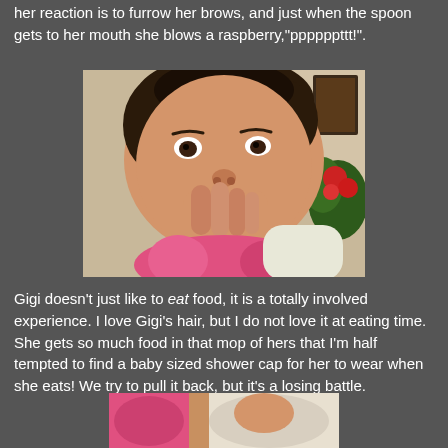her reaction is to furrow her brows, and just when the spoon gets to her mouth she blows a raspberry,"ppppppttt!".
[Figure (photo): Close-up photo of a baby with dark curly hair, wearing a pink bib, chewing on her hand/fingers. She has wide dark eyes and appears to be sitting at a table. Background shows some flowers and a wall.]
Gigi doesn't just like to eat food, it is a totally involved experience. I love Gigi's hair, but I do not love it at eating time. She gets so much food in that mop of hers that I'm half tempted to find a baby sized shower cap for her to wear when she eats! We try to pull it back, but it's a losing battle.
[Figure (photo): Partially visible photo at the bottom of the page, appears to be another image of the baby.]